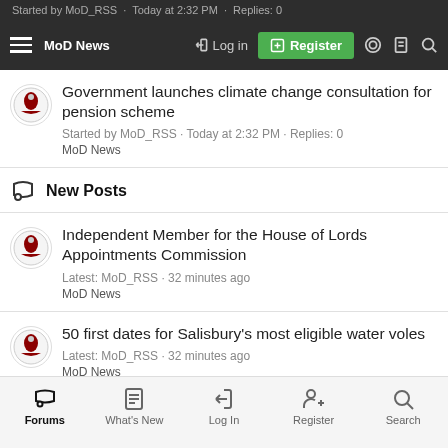Started by MoD_RSS · Today at 2:32 PM · Replies: 0 — MoD News (partial, cut off at top)
Navigation bar: MoD News | Log in | Register | (icons)
Government launches climate change consultation for pension scheme
Started by MoD_RSS · Today at 2:32 PM · Replies: 0
MoD News
New Posts
Independent Member for the House of Lords Appointments Commission
Latest: MoD_RSS · 32 minutes ago
MoD News
50 first dates for Salisbury's most eligible water voles
Latest: MoD_RSS · 32 minutes ago
MoD News
Forums | What's New | Log In | Register | Search